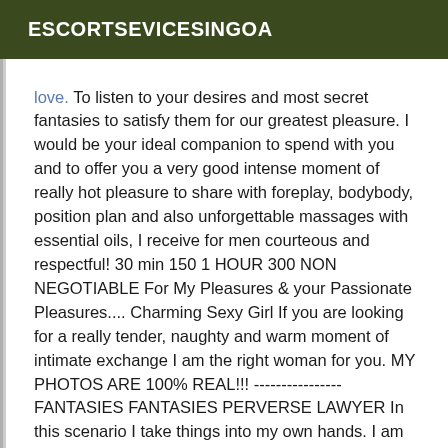ESCORTSEVICESINGOA
love. To listen to your desires and most secret fantasies to satisfy them for our greatest pleasure. I would be your ideal companion to spend with you and to offer you a very good intense moment of really hot pleasure to share with foreplay, bodybody, position plan and also unforgettable massages with essential oils, I receive for men courteous and respectful! 30 min 150 1 HOUR 300 NON NEGOTIABLE For My Pleasures & your Passionate Pleasures.... Charming Sexy Girl If you are looking for a really tender, naughty and warm moment of intimate exchange I am the right woman for you. MY PHOTOS ARE 100% REAL!!! ---------------- FANTASIES FANTASIES PERVERSE LAWYER In this scenario I take things into my own hands. I am followed by my lover, as soon as the door is closed I lay him down on my bed and straddle him. Then I unbutton his pants and pull out his already hard and hot limb. After a few